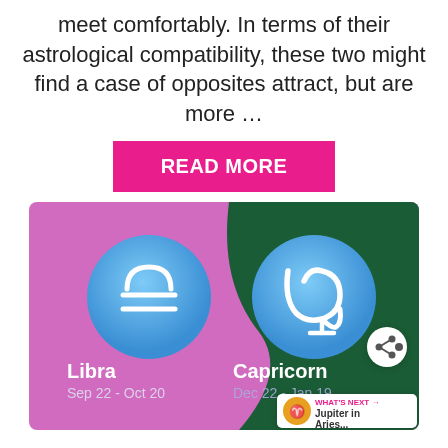meet comfortably. In terms of their astrological compatibility, these two might find a case of opposites attract, but are more …
READ MORE
[Figure (illustration): Libra and Capricorn zodiac compatibility graphic. Left side has pink/violet background with a blue gradient circle showing the Libra symbol (scales) and text 'Libra Sep 22 - Oct 20'. Right side has dark green background with a blue gradient circle showing the Capricorn symbol and text 'Capricorn Dec 22 - Jan 19'. A share icon appears on the right and a 'What's Next → Jupiter in Aries...' badge appears at bottom right.]